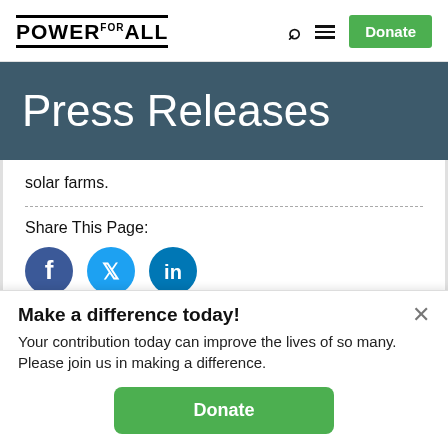POWER FOR ALL | Search | Menu | Donate
Press Releases
solar farms.
Share This Page:
[Figure (illustration): Social sharing icons: Facebook, Twitter, LinkedIn]
Make a difference today!
Your contribution today can improve the lives of so many. Please join us in making a difference.
Donate